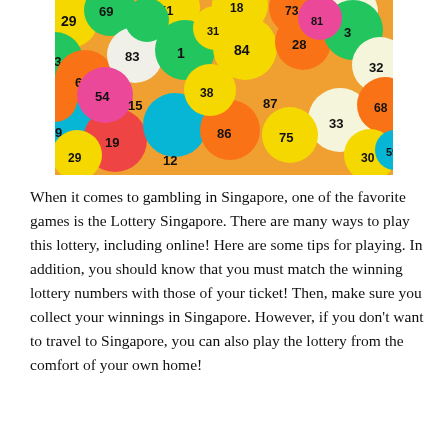[Figure (photo): A pile of colorful lottery balls with numbers printed on them, including numbers like 69, 83, 84, 86, 81, 32, 33, 75, 19, 29, 63, and many others in yellow, green, blue, red, orange, pink and white colors.]
When it comes to gambling in Singapore, one of the favorite games is the Lottery Singapore. There are many ways to play this lottery, including online! Here are some tips for playing. In addition, you should know that you must match the winning lottery numbers with those of your ticket! Then, make sure you collect your winnings in Singapore. However, if you don't want to travel to Singapore, you can also play the lottery from the comfort of your own home!